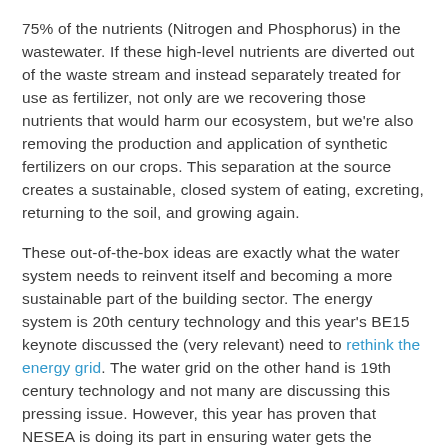75% of the nutrients (Nitrogen and Phosphorus) in the wastewater. If these high-level nutrients are diverted out of the waste stream and instead separately treated for use as fertilizer, not only are we recovering those nutrients that would harm our ecosystem, but we're also removing the production and application of synthetic fertilizers on our crops. This separation at the source creates a sustainable, closed system of eating, excreting, returning to the soil, and growing again.
These out-of-the-box ideas are exactly what the water system needs to reinvent itself and becoming a more sustainable part of the building sector. The energy system is 20th century technology and this year's BE15 keynote discussed the (very relevant) need to rethink the energy grid. The water grid on the other hand is 19th century technology and not many are discussing this pressing issue. However, this year has proven that NESEA is doing its part in ensuring water gets the attention and energy it deserves and putting the resources and member-driven